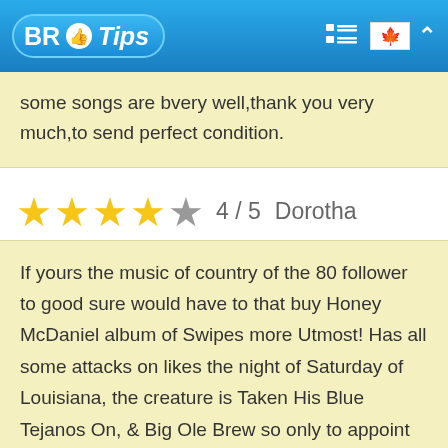BR Tips
some songs are bvery well,thank you very much,to send perfect condition.
★★★★☆ 4 / 5   Dorotha
If yours the music of country of the 80 follower to good sure would have to that buy Honey McDaniel album of Swipes more Utmost! Has all some attacks on likes the night of Saturday of Louisiana, the creature is Taken His Blue Tejanos On, & Big Ole Brew so only to appoint the little! There are 10 songs in everything in this cd & the time to touch